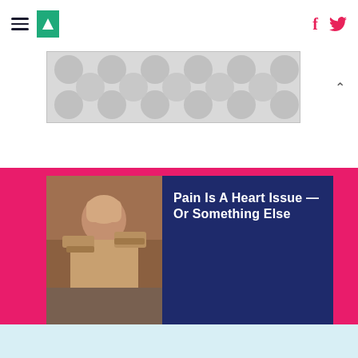HuffPost navigation header with hamburger menu, logo, Facebook and Twitter icons
[Figure (other): Ad banner with polka dot pattern background]
[Figure (photo): Person with hands on head in distress]
Pain Is A Heart Issue — Or Something Else
[Figure (photo): Child sitting huddled on stairs]
Kids Deal With Toxic Friends Too. Here's What Parents Should Do — An...